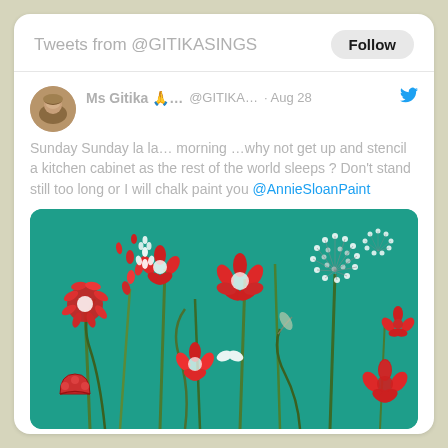Tweets from @GITIKASINGS
Ms Gitika 🙏… @GITIKA… · Aug 28
Sunday Sunday la la… morning …why not get up and stencil a kitchen cabinet as the rest of the world sleeps ? Don't stand still too long or I will chalk paint you @AnnieSloanPaint
[Figure (photo): Photo of a teal/turquoise painted surface with stencilled red and white wildflowers and plants design]
💬 3   ♡ 14